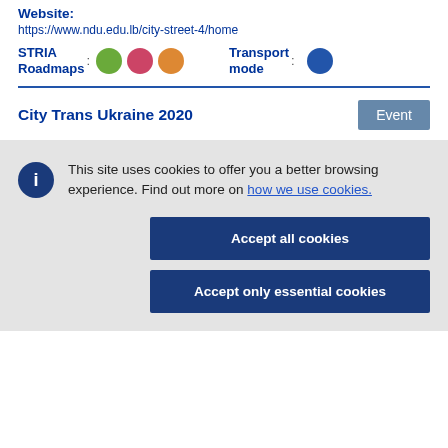Website:
https://www.ndu.edu.lb/city-street-4/home
STRIA Roadmaps: [icons] Transport mode: [icon]
City Trans Ukraine 2020
Event
This site uses cookies to offer you a better browsing experience. Find out more on how we use cookies.
Accept all cookies
Accept only essential cookies